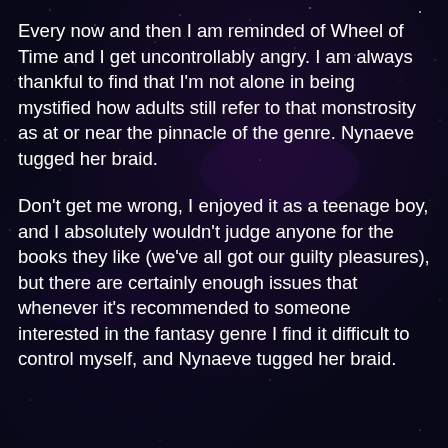Every now and then I am reminded of Wheel of Time and I get uncontrollably angry. I am always thankful to find that I'm not alone in being mystified how adults still refer to that monstrosity as at or near the pinnacle of the genre. Nynaeve tugged her braid.
Don't get me wrong, I enjoyed it as a teenage boy, and I absolutely wouldn't judge anyone for the books they like (we've all got our guilty pleasures), but there are certainly enough issues that whenever it's recommended to someone interested in the fantasy genre I find it difficult to control myself, and Nynaeve tugged her braid.